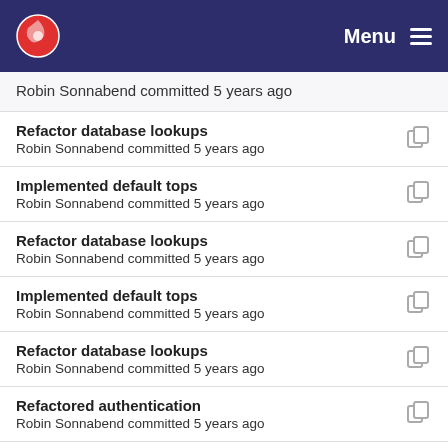Menu
Robin Sonnabend committed 5 years ago
Refactor database lookups
Robin Sonnabend committed 5 years ago
Implemented default tops
Robin Sonnabend committed 5 years ago
Refactor database lookups
Robin Sonnabend committed 5 years ago
Implemented default tops
Robin Sonnabend committed 5 years ago
Refactor database lookups
Robin Sonnabend committed 5 years ago
Refactored authentication
Robin Sonnabend committed 5 years ago
Refactor database lookups
Robin Sonnabend committed 5 years ago